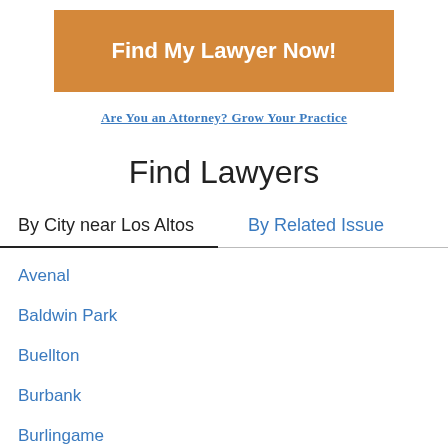[Figure (other): Orange button with text 'Find My Lawyer Now!']
Are You an Attorney? Grow Your Practice
Find Lawyers
By City near Los Altos
By Related Issue
Avenal
Baldwin Park
Buellton
Burbank
Burlingame
Calipatria